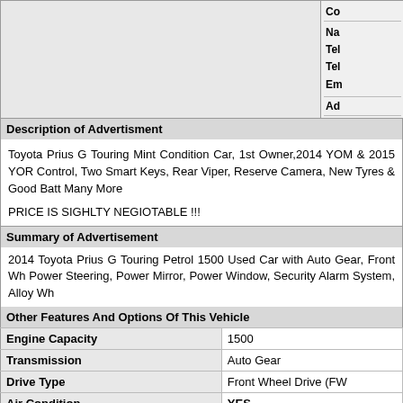| (image area) | Co... | Na... Tel... Tel... Em... |
| --- | --- | --- |
|  | Ad... | Ad... |
Description of Advertisment
Toyota Prius G Touring Mint Condition Car, 1st Owner,2014 YOM & 2015 YOR Control, Two Smart Keys, Rear Viper, Reserve Camera, New Tyres & Good Batt Many More
PRICE IS SIGHLTY NEGIOTABLE !!!
Summary of Advertisement
2014 Toyota Prius G Touring Petrol 1500 Used Car with Auto Gear, Front Wh Power Steering, Power Mirror, Power Window, Security Alarm System, Alloy Wh
| Other Features And Options Of This Vehicle |  |
| --- | --- |
| Engine Capacity | 1500 |
| Transmission | Auto Gear |
| Drive Type | Front Wheel Drive (FW |
| Air Condition | YES |
| Power Steering | YES |